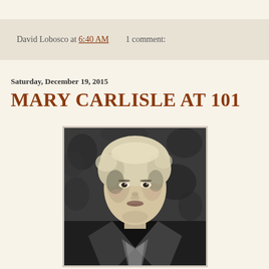David Lobosco at 6:40 AM    1 comment:
Saturday, December 19, 2015
MARY CARLISLE AT 101
[Figure (photo): Black and white portrait photograph of Mary Carlisle, a blonde actress with curly hair wearing an off-shoulder dress, looking directly at the camera]